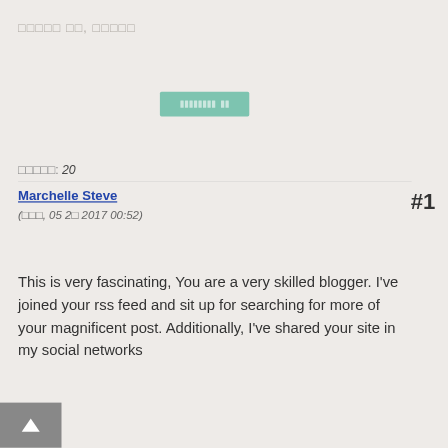□□□□□ □□, □□□□□
[Figure (other): Green/teal button with white block icons inside]
□□□□□: 20
Marchelle Steve
(□□□, 05 2□ 2017 00:52)
#1
This is very fascinating, You are a very skilled blogger. I've joined your rss feed and sit up for searching for more of your magnificent post. Additionally, I've shared your site in my social networks